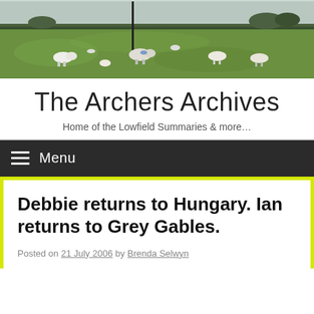[Figure (photo): Panoramic photo of a green field with sheep grazing, hedgerows and trees in the background under a grey sky. A dark pole is visible in the upper middle area.]
The Archers Archives
Home of the Lowfield Summaries & more…
Menu
Debbie returns to Hungary. Ian returns to Grey Gables.
Posted on 21 July 2006 by Brenda Selwyn